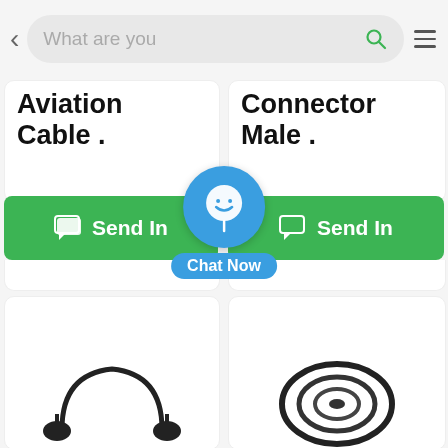[Figure (screenshot): Mobile app screenshot showing a product search page with navigation bar containing back button, search box with 'What are you' placeholder text, search icon, and hamburger menu. Two product cards at top showing 'Aviation Cable .' and 'Connector Male .' with green 'Send In...' inquiry buttons. A blue 'Chat Now' floating button overlay in the center. Two more product cards at the bottom with product images of headsets and cables.]